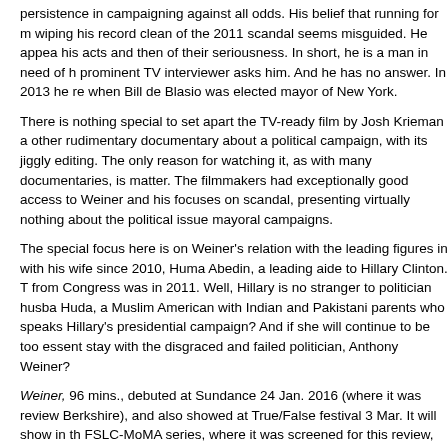persistence in campaigning against all odds. His belief that running for m wiping his record clean of the 2011 scandal seems misguided. He appea his acts and then of their seriousness. In short, he is a man in need of h prominent TV interviewer asks him. And he has no answer. In 2013 he re when Bill de Blasio was elected mayor of New York.
There is nothing special to set apart the TV-ready film by Josh Krieman a other rudimentary documentary about a political campaign, with its jiggly editing. The only reason for watching it, as with many documentaries, is matter. The filmmakers had exceptionally good access to Weiner and his focuses on scandal, presenting virtually nothing about the political issue mayoral campaigns.
The special focus here is on Weiner's relation with the leading figures in with his wife since 2010, Huma Abedin, a leading aide to Hillary Clinton. T from Congress was in 2011. Well, Hillary is no stranger to politician husba Huda, a Muslim American with Indian and Pakistani parents who speaks Hillary's presidential campaign? And if she will continue to be too essent stay with the disgraced and failed politician, Anthony Weiner?
Weiner, 96 mins., debuted at Sundance 24 Jan. 2016 (where it was review Berkshire), and also showed at True/False festival 3 Mar. It will show in th FSLC-MoMA series, where it was screened for this review, 25 Mar., and it release 20 May 2016. It will premiere on Showtime in Oct. 2016.
Last edited by Chris Knipp; 03-21-2016 at 07:56 PM.